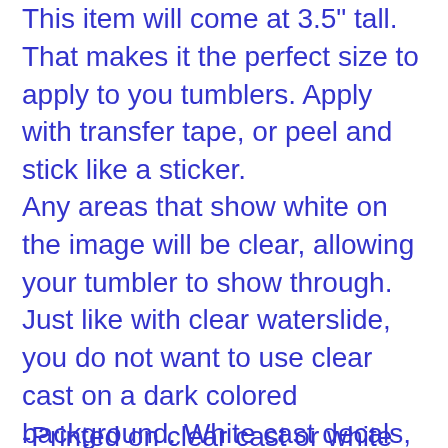This item will come at 3.5" tall. That makes it the perfect size to apply to you tumblers. Apply with transfer tape, or peel and stick like a sticker.
Any areas that show white on the image will be clear, allowing your tumbler to show through. Just like with clear waterslide, you do not want to use clear cast on a dark colored background. White cast decals, will actually show white in those areas, making the entire decal opaque.
-Printed on clear cast or white cast material